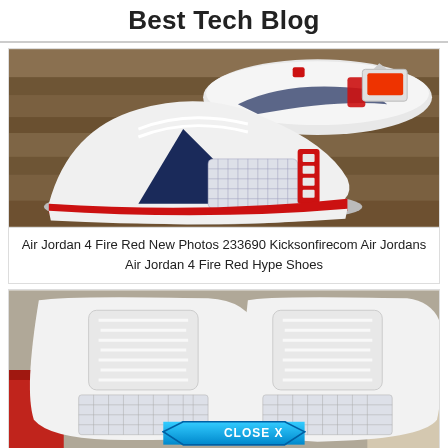Best Tech Blog
[Figure (photo): Air Jordan 4 Fire Red sneakers photographed from above on a wooden surface, showing white, navy and red colorway with price tag attached]
Air Jordan 4 Fire Red New Photos 233690 Kicksonfirecom Air Jordans Air Jordan 4 Fire Red Hype Shoes
[Figure (photo): Close-up top-down view of white Air Jordan 4 sneakers with grid mesh, laces visible, shoe box with number 11 and 'ADE BY ADIDA' text visible in background, with a 'CLOSE X' button overlay at the bottom]